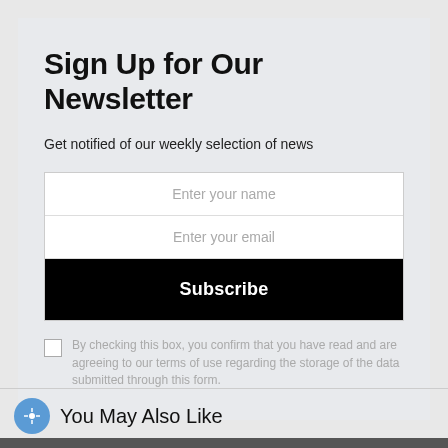Sign Up for Our Newsletter
Get notified of our weekly selection of news
Enter your name
Enter your email
Subscribe
By checking this box, you confirm that you have read and are agreeing to our terms of use regarding the storage of the data submitted through this form.
You May Also Like